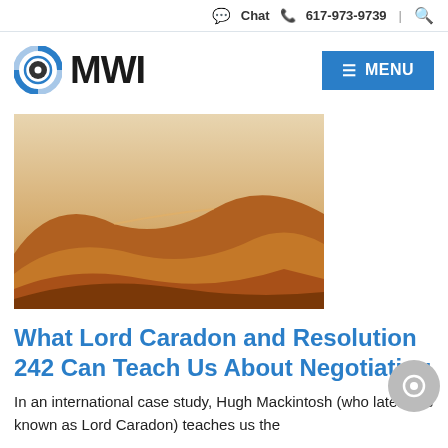Chat  617-973-9739
[Figure (logo): MWI logo with blue circular icon and bold MWI text, plus blue MENU button]
[Figure (photo): Desert sand dunes photo with warm orange/tan tones and hazy sky]
What Lord Caradon and Resolution 242 Can Teach Us About Negotiating
In an international case study, Hugh Mackintosh (who later was known as Lord Caradon) teaches us the